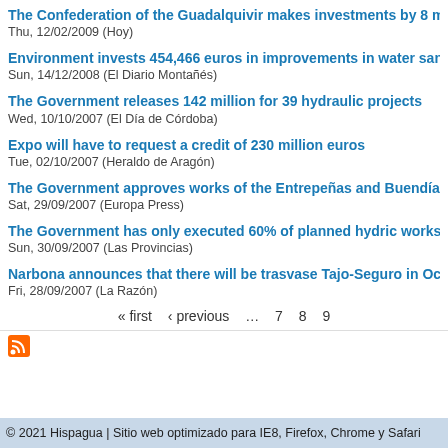The Confederation of the Guadalquivir makes investments by 8 m
Thu, 12/02/2009 (Hoy)
Environment invests 454,466 euros in improvements in water san
Sun, 14/12/2008 (El Diario Montañés)
The Government releases 142 million for 39 hydraulic projects
Wed, 10/10/2007 (El Día de Córdoba)
Expo will have to request a credit of 230 million euros
Tue, 02/10/2007 (Heraldo de Aragón)
The Government approves works of the Entrepeñas and Buendía
Sat, 29/09/2007 (Europa Press)
The Government has only executed 60% of planned hydric works
Sun, 30/09/2007 (Las Provincias)
Narbona announces that there will be trasvase Tajo-Seguro in Oc
Fri, 28/09/2007 (La Razón)
« first  ‹ previous  ...  7  8  9
© 2021 Hispagua | Sitio web optimizado para IE8, Firefox, Chrome y Safari